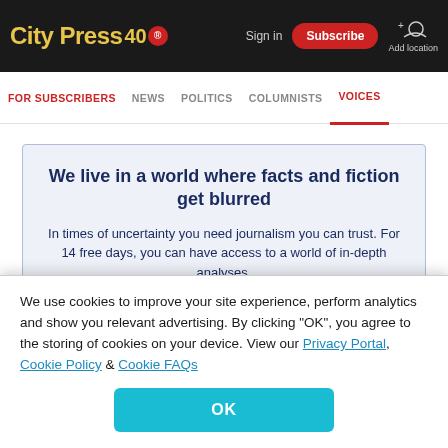City Press 40 — Sign in | Subscribe | Add location
FOR SUBSCRIBERS  NEWS  POLITICS  COLUMNISTS  VOICES
We live in a world where facts and fiction get blurred
In times of uncertainty you need journalism you can trust. For 14 free days, you can have access to a world of in-depth analyses,
We use cookies to improve your site experience, perform analytics and show you relevant advertising. By clicking "OK", you agree to the storing of cookies on your device. View our Privacy Portal, Cookie Policy & Cookie FAQs
OK